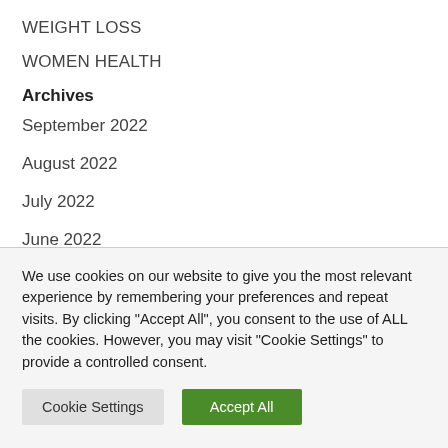WEIGHT LOSS
WOMEN HEALTH
Archives
September 2022
August 2022
July 2022
June 2022
We use cookies on our website to give you the most relevant experience by remembering your preferences and repeat visits. By clicking "Accept All", you consent to the use of ALL the cookies. However, you may visit "Cookie Settings" to provide a controlled consent.